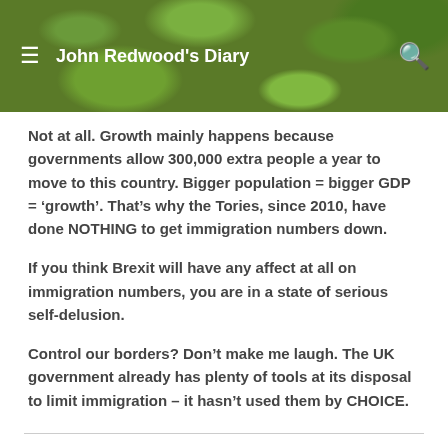John Redwood's Diary
Not at all. Growth mainly happens because governments allow 300,000 extra people a year to move to this country. Bigger population = bigger GDP = ‘growth’. That’s why the Tories, since 2010, have done NOTHING to get immigration numbers down.
If you think Brexit will have any affect at all on immigration numbers, you are in a state of serious self-delusion.
Control our borders? Don’t make me laugh. The UK government already has plenty of tools at its disposal to limit immigration – it hasn’t used them by CHOICE.